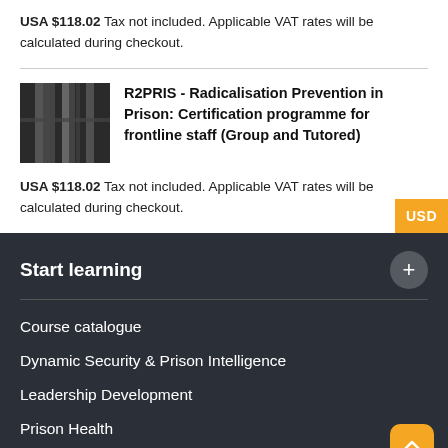USA $118.02 Tax not included. Applicable VAT rates will be calculated during checkout.
[Figure (photo): Black and white photo thumbnail of prison bars or similar structure]
R2PRIS - Radicalisation Prevention in Prison: Certification programme for frontline staff (Group and Tutored)
USA $118.02 Tax not included. Applicable VAT rates will be calculated during checkout.
Start learning
Course catalogue
Dynamic Security & Prison Intelligence
Leadership Development
Prison Health
Prison Work and Industries